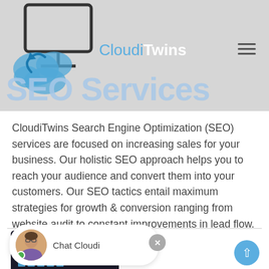[Figure (screenshot): Website header banner for CloudiTwins SEO Services page, showing a grey background with large light-blue 'SEO Services' text, a cloud/monitor icon on the left, the CloudiTwins logo in the center, and a hamburger menu icon on the right.]
CloudiTwins Search Engine Optimization (SEO) services are focused on increasing sales for your business. Our holistic SEO approach helps you to reach your audience and convert them into your customers. Our SEO tactics entail maximum strategies for growth & conversion ranging from website audit to constant improvements in lead flow.
[Figure (screenshot): Bottom section showing a chat widget with avatar (woman with glasses and green online dot) and 'Chat Cloudi' label, a close (X) button, a back-to-top arrow button in blue, and a partially visible dark-themed analytics/chart screenshot at the bottom left.]